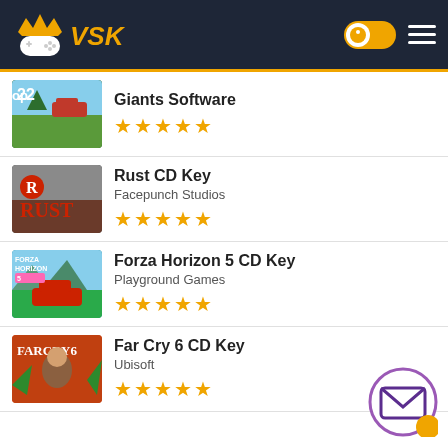VSK gaming website header with logo and navigation
Giants Software
★★★★★
Rust CD Key
Facepunch Studios
★★★★★
Forza Horizon 5 CD Key
Playground Games
★★★★★
Far Cry 6 CD Key
Ubisoft
★★★★★
Football Manager 2022 CD Key
Sports Interactive